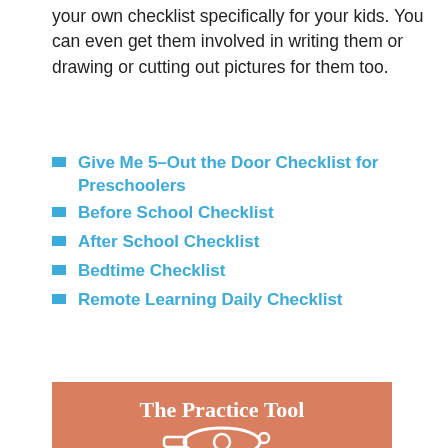your own checklist specifically for your kids. You can even get them involved in writing them or drawing or cutting out pictures for them too.
Give Me 5–Out the Door Checklist for Preschoolers
Before School Checklist
After School Checklist
Bedtime Checklist
Remote Learning Daily Checklist
[Figure (illustration): Orange/salmon colored card with white text 'The Practice Tool' in serif bold font, with a white whistle illustration below the text.]